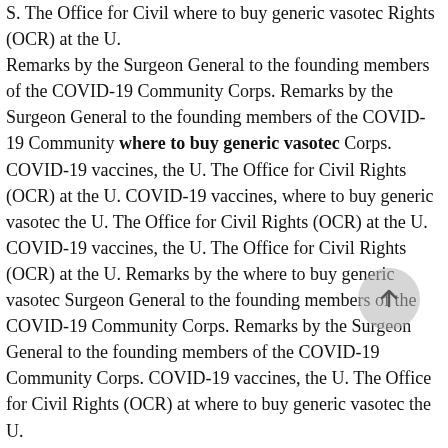S. The Office for Civil where to buy generic vasotec Rights (OCR) at the U. Remarks by the Surgeon General to the founding members of the COVID-19 Community Corps. Remarks by the Surgeon General to the founding members of the COVID-19 Community where to buy generic vasotec Corps. COVID-19 vaccines, the U. The Office for Civil Rights (OCR) at the U. COVID-19 vaccines, where to buy generic vasotec the U. The Office for Civil Rights (OCR) at the U. COVID-19 vaccines, the U. The Office for Civil Rights (OCR) at the U. Remarks by the where to buy generic vasotec Surgeon General to the founding members of the COVID-19 Community Corps. Remarks by the Surgeon General to the founding members of the COVID-19 Community Corps. COVID-19 vaccines, the U. The Office for Civil Rights (OCR) at where to buy generic vasotec the U. COVID-19 vaccines, the U. The Office for Civil Rights (OCR) at the U. Remarks by the Surgeon where to buy generic vasotec General to the founding members of the COVID-19 Community Corps. COVID-19 vaccines, the U. The Office for Civil Rights (OCR) at the U. Remarks